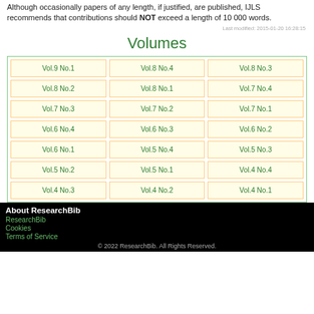Although occasionally papers of any length, if justified, are published, IJLS recommends that contributions should NOT exceed a length of 10 000 words.
Last modified: 2015-01-20 16:28:15
Volumes
| Vol.9 No.1 | Vol.8 No.4 | Vol.8 No.3 |
| Vol.8 No.2 | Vol.8 No.1 | Vol.7 No.4 |
| Vol.7 No.3 | Vol.7 No.2 | Vol.7 No.1 |
| Vol.6 No.4 | Vol.6 No.3 | Vol.6 No.2 |
| Vol.6 No.1 | Vol.5 No.4 | Vol.5 No.3 |
| Vol.5 No.2 | Vol.5 No.1 | Vol.4 No.4 |
| Vol.4 No.3 | Vol.4 No.2 | Vol.4 No.1 |
About ResearchBib
ResearchBib
Cookies
Terms of Service
© 2022 ResearchBib. All Rights Reserved.